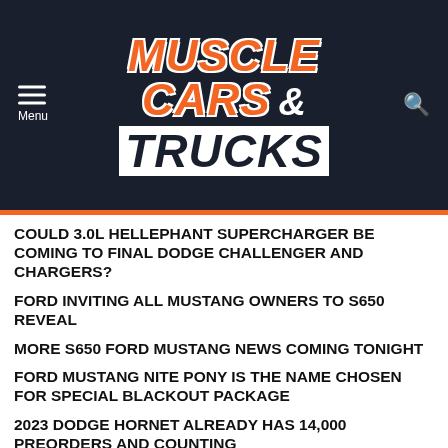[Figure (logo): Muscle Cars & Trucks website header logo on dark navy background with menu and search icons]
COULD 3.0L HELLEPHANT SUPERCHARGER BE COMING TO FINAL DODGE CHALLENGER AND CHARGERS?
FORD INVITING ALL MUSTANG OWNERS TO S650 REVEAL
MORE S650 FORD MUSTANG NEWS COMING TONIGHT
FORD MUSTANG NITE PONY IS THE NAME CHOSEN FOR SPECIAL BLACKOUT PACKAGE
2023 DODGE HORNET ALREADY HAS 14,000 PREORDERS AND COUNTING
2021 HELLCAT DURANGO OWNERS ARE NOT HAPPY WITH DODGE RIGHT NOW
[Figure (illustration): BitLife advertisement banner with emoji characters (devil, person shrugging, angel face) on orange background with BitLife logo and REAL CHOICES text]